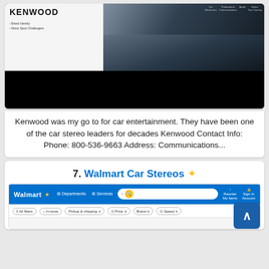[Figure (screenshot): Screenshot of the Kenwood website showing the Kenwood logo, navigation items (Brand Identity, Motor Sport Challengers), and a dark atmospheric image of a car and audio equipment. Lower portion is a black bar.]
Kenwood was my go to for car entertainment. They have been one of the car stereo leaders for decades Kenwood Contact Info: Phone: 800-536-9663 Address: Communications...
7. Walmart Car Stereos ✦
[Figure (screenshot): Screenshot of Walmart website showing the Walmart logo, navigation bar with Departments, Services, search bar, My Items, and Account links. Filter bar below with All filters, In-store, Pickup & shipping, Price, Brand, Speed options.]